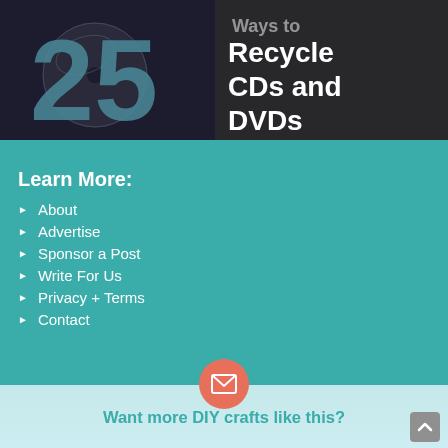[Figure (illustration): Dark background image showing the number 25 in large teal/blue text with CDs/DVDs, and bold white text reading 'Ways to Recycle CDs and DVDs']
Learn More:
About
Advertise
Sponsor a Post
Write For Us
Privacy + Terms
Contact
Want more DIY crafts like this?